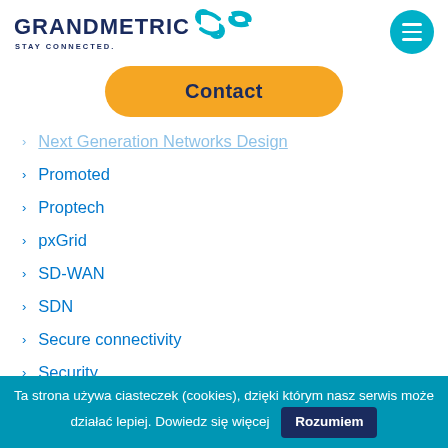[Figure (logo): Grandmetric logo with blue text and teal icon, tagline STAY CONNECTED.]
[Figure (other): Circular teal menu button with three white horizontal lines (hamburger icon)]
Contact
Next Generation Networks Design (faded/partial)
Promoted
Proptech
pxGrid
SD-WAN
SDN
Secure connectivity
Security
Software Development
Ta strona używa ciasteczek (cookies), dzięki którym nasz serwis może działać lepiej. Dowiedz się więcej  Rozumiem